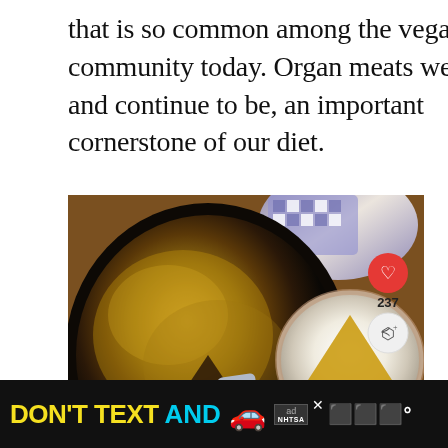that is so common among the vegan community today. Organ meats were, and continue to be, an important cornerstone of our diet.
[Figure (photo): A cast iron skillet containing a baked dish with a golden-brown crumbly top, with a spatula removing a slice. Beside it is a terracotta/ceramic plate with a triangular slice of the dish. A heart icon showing 237 likes and a share button are visible. A 'What's Next - Braised Beef Heart Recip...' overlay appears at the bottom right.]
DON'T TEXT AND [car emoji] ad NHTSA